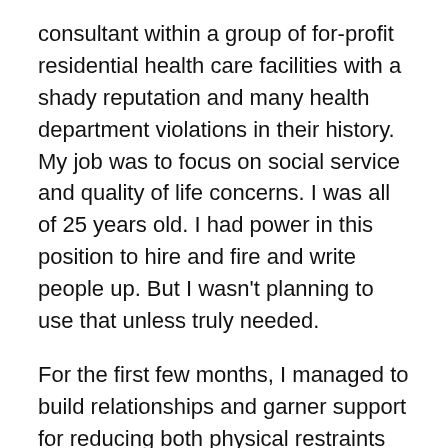consultant within a group of for-profit residential health care facilities with a shady reputation and many health department violations in their history. My job was to focus on social service and quality of life concerns. I was all of 25 years old. I had power in this position to hire and fire and write people up. But I wasn't planning to use that unless truly needed.
For the first few months, I managed to build relationships and garner support for reducing both physical restraints and the use of psychopharmacology to sedate the residents of the facility. I tried to use what power I had fairly. I had some fabulous partners in this, including allies in pharmacy, nursing, and rehabilitation. I did not have supportive relationships with all my facility administrators, though. And I had no power other than persuasion with the way things look in this area of facilities and...